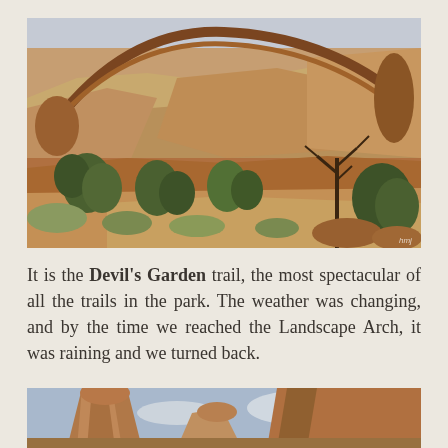[Figure (photo): Landscape Arch at Arches National Park — a long, thin sandstone arch spans across the top of the image with red rock formations below it and juniper trees and desert shrubs in the foreground. Overcast sky visible in upper left.]
It is the Devil's Garden trail, the most spectacular of all the trails in the park. The weather was changing, and by the time we reached the Landscape Arch, it was raining and we turned back.
[Figure (photo): Partial view of tall red sandstone rock formations against a partly cloudy blue sky, with the top portion cropped by the page edge.]